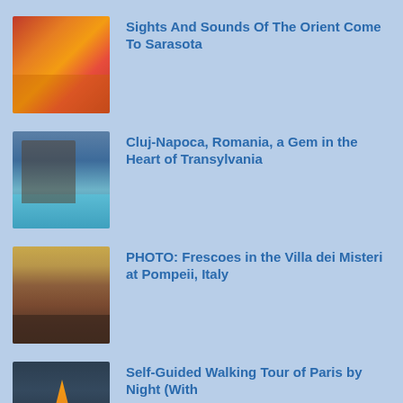[Figure (photo): Chinese lion dance costume with orange fabric and red decorations]
Sights And Sounds Of The Orient Come To Sarasota
[Figure (photo): Cluj-Napoca city square with fountain and historic buildings under cloudy sky]
Cluj-Napoca, Romania, a Gem in the Heart of Transylvania
[Figure (photo): Ancient Roman frescoes on walls of the Villa dei Misteri at Pompeii]
PHOTO: Frescoes in the Villa dei Misteri at Pompeii, Italy
[Figure (photo): Paris cityscape at night with illuminated landmark]
Self-Guided Walking Tour of Paris by Night (With